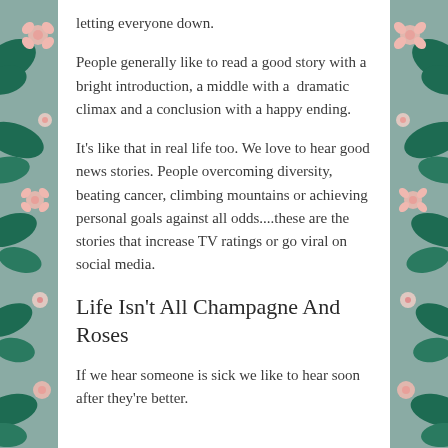letting everyone down.
People generally like to read a good story with a bright introduction, a middle with a  dramatic climax and a conclusion with a happy ending.
It’s like that in real life too. We love to hear good news stories. People overcoming diversity, beating cancer, climbing mountains or achieving personal goals against all odds....these are the stories that increase TV ratings or go viral on social media.
Life Isn’t All Champagne And Roses
If we hear someone is sick we like to hear soon after they’re better.